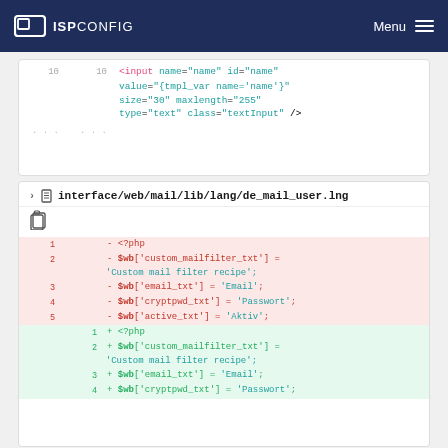ISPConfig  Menu
[Figure (screenshot): Code editor panel showing HTML input element with name, id, value, size, maxlength, type, and class attributes across lines 10-10 with ellipsis rows]
interface/web/mail/lib/lang/de_mail_user.lng
[Figure (screenshot): Diff view of de_mail_user.lng showing deleted lines (1-5) with <?php and $wb array assignments in red, and added lines (1-4+) in green with same keys]
- <?php
- $wb['custom_mailfilter_txt'] = 'Custom mail filter recipe';
- $wb['email_txt'] = 'Email';
- $wb['cryptpwd_txt'] = 'Passwort';
- $wb['active_txt'] = 'Aktiv';
+ <?php
+ $wb['custom_mailfilter_txt'] = 'Custom mail filter recipe';
+ $wb['email_txt'] = 'Email';
+ $wb['cryptpwd_txt'] = 'Passwort';